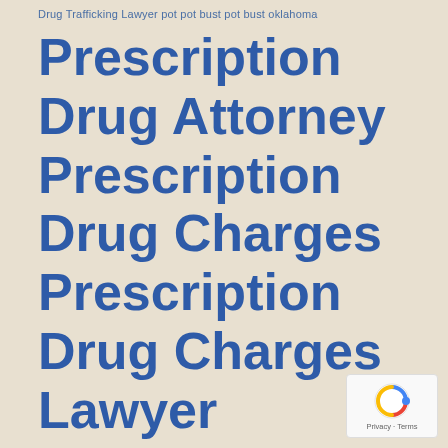Drug Trafficking Lawyer pot pot bust pot bust oklahoma
Prescription Drug Attorney Prescription Drug Charges Prescription Drug Charges Lawyer Prescription Drug Lawyer Prescription Drugs Attorney Prescription Drugs Charges Attorney Prescription D…